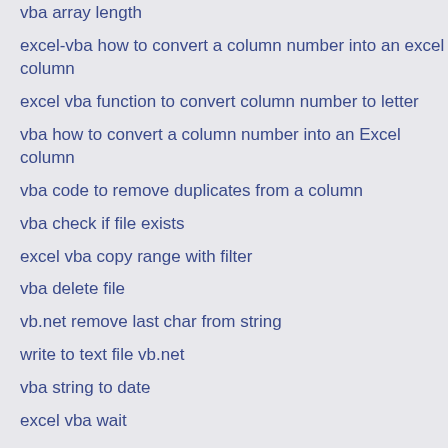vba array length
excel-vba how to convert a column number into an excel column
excel vba function to convert column number to letter
vba how to convert a column number into an Excel column
vba code to remove duplicates from a column
vba check if file exists
excel vba copy range with filter
vba delete file
vb.net remove last char from string
write to text file vb.net
vba string to date
excel vba wait